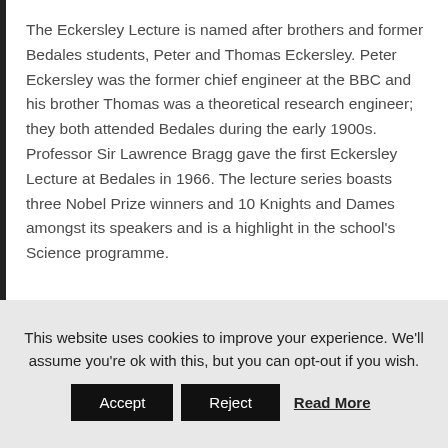The Eckersley Lecture is named after brothers and former Bedales students, Peter and Thomas Eckersley. Peter Eckersley was the former chief engineer at the BBC and his brother Thomas was a theoretical research engineer; they both attended Bedales during the early 1900s. Professor Sir Lawrence Bragg gave the first Eckersley Lecture at Bedales in 1966. The lecture series boasts three Nobel Prize winners and 10 Knights and Dames amongst its speakers and is a highlight in the school's Science programme.
This website uses cookies to improve your experience. We'll assume you're ok with this, but you can opt-out if you wish.